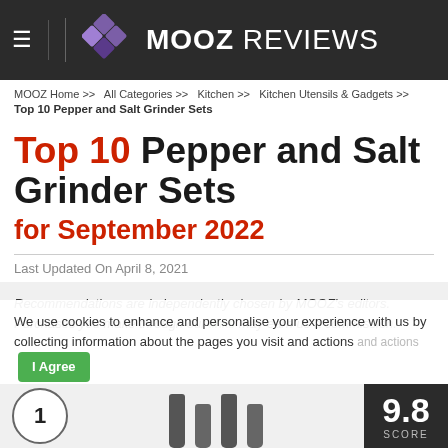MOOZ REVIEWS
MOOZ Home >> All Categories >> Kitchen >> Kitchen Utensils & Gadgets >>
Top 10 Pepper and Salt Grinder Sets
Top 10 Pepper and Salt Grinder Sets for September 2022
Last Updated On April 8, 2021
Recommendations are independently chosen by MOOZ's editors. Purchases you make through our links may earn us a commission.
We use cookies to enhance and personalise your experience with us by collecting information about the pages you visit and actions taken on the site. More details  I Agree
9.8 SCORE